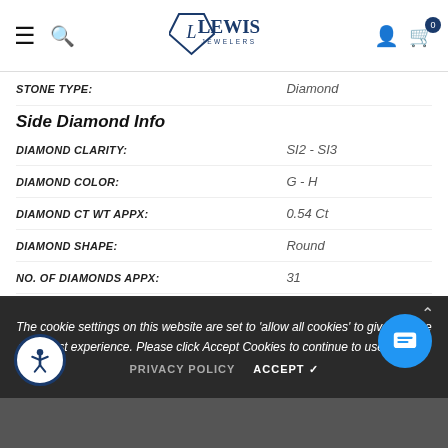[Figure (logo): Lewis Jewelers logo with diamond shape and brand name]
| Property | Value |
| --- | --- |
| STONE TYPE: | Diamond |
| DIAMOND CLARITY: | SI2 - SI3 |
| DIAMOND COLOR: | G - H |
| DIAMOND CT WT APPX: | 0.54 Ct |
| DIAMOND SHAPE: | Round |
| NO. OF DIAMONDS APPX: | 31 |
Side Diamond Info
Other Info
| Property | Value |
| --- | --- |
| TOTAL DIAMOND WT APPX: | 0.99 Ct |
The cookie settings on this website are set to 'allow all cookies' to give you the very best experience. Please click Accept Cookies to continue to use the site.
Customer Reviews
PRIVACY POLICY   ACCEPT ✓